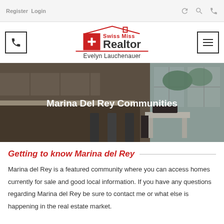Register  Login
[Figure (logo): Swiss Miss Realtor logo with Swiss cross icon, house roofline, and text 'Swiss Miss Realtor Evelyn Lauchenauer']
[Figure (photo): Interior kitchen/dining area photo with text overlay 'Marina Del Rey Communities']
Getting to know Marina del Rey
Marina del Rey is a featured community where you can access homes currently for sale and good local information. If you have any questions regarding Marina del Rey be sure to contact me or what else is happening in the real estate market.